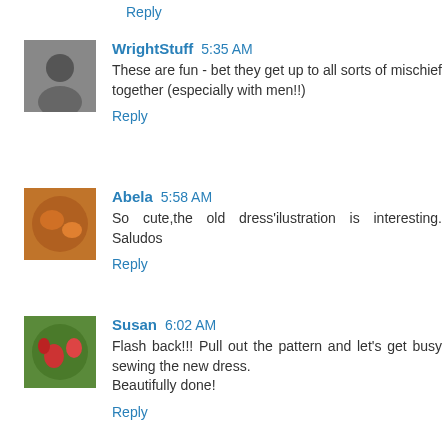Reply
WrightStuff 5:35 AM
These are fun - bet they get up to all sorts of mischief together (especially with men!!)
Reply
Abela 5:58 AM
So cute,the old dress'ilustration is interesting. Saludos
Reply
Susan 6:02 AM
Flash back!!! Pull out the pattern and let's get busy sewing the new dress.
Beautifully done!
Reply